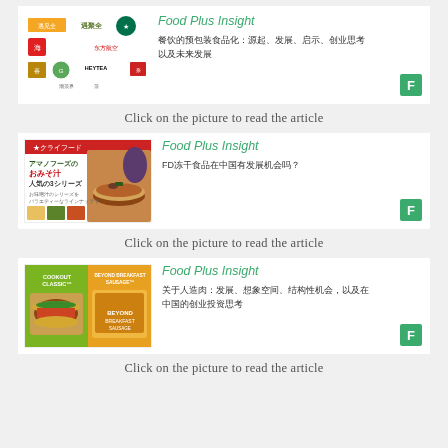[Figure (illustration): Card with food brand logos (Full Cup, Starbucks, Haidilao, HEYTEA, etc.) and Food Plus Insight header with Chinese text about pre-packaged food]
Click on the picture to read the article
[Figure (illustration): Card with Japanese miso soup product image (Amano Foods) and Food Plus Insight header with Chinese text about FD freeze-dried food opportunities in China]
Click on the picture to read the article
[Figure (illustration): Card with Beyond Meat Cookout Classic and Beyond Breakfast Sausage product image and Food Plus Insight header with Chinese text about artificial meat development]
Click on the picture to read the article